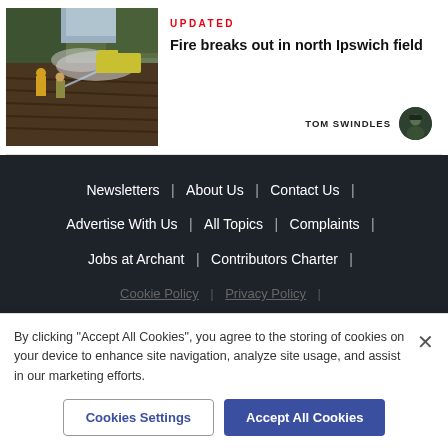[Figure (photo): Firefighters battling a field fire in north Ipswich, with smoke and a fire hose visible in a ploughed field.]
UPDATED
Fire breaks out in north Ipswich field
TOM SWINDLES
Newsletters | About Us | Contact Us | Advertise With Us | All Topics | Complaints | Jobs at Archant | Contributors Charter | Cookie Policy | Privacy Policy |
By clicking "Accept All Cookies", you agree to the storing of cookies on your device to enhance site navigation, analyze site usage, and assist in our marketing efforts.
Cookies Settings
Accept All Cookies